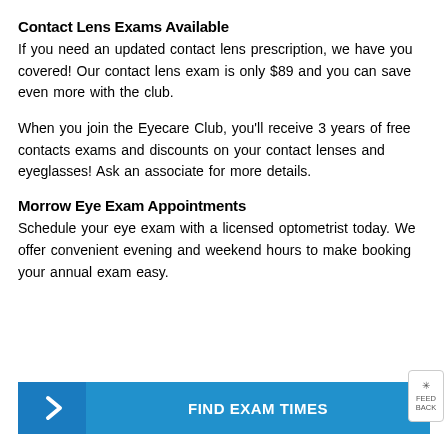Contact Lens Exams Available
If you need an updated contact lens prescription, we have you covered! Our contact lens exam is only $89 and you can save even more with the club.
When you join the Eyecare Club, you'll receive 3 years of free contacts exams and discounts on your contact lenses and eyeglasses! Ask an associate for more details.
Morrow Eye Exam Appointments
Schedule your eye exam with a licensed optometrist today. We offer convenient evening and weekend hours to make booking your annual exam easy.
[Figure (other): Blue button with right arrow chevron and text FIND EXAM TIMES]